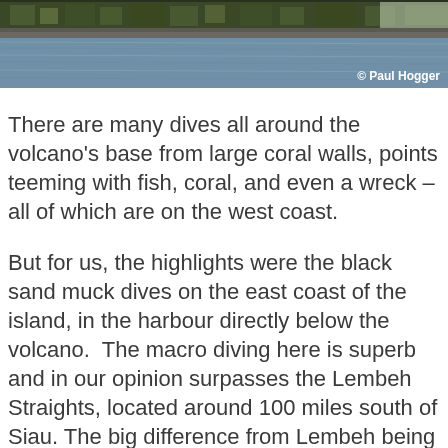[Figure (photo): Photograph of a coastal village or harbour with rooftops and buildings visible along the shoreline, and water in the foreground. Taken near a volcano area. Copyright notice reads '© Paul Hogger'.]
There are many dives all around the volcano's base from large coral walls, points teeming with fish, coral, and even a wreck – all of which are on the west coast.
But for us, the highlights were the black sand muck dives on the east coast of the island, in the harbour directly below the volcano.  The macro diving here is superb and in our opinion surpasses the Lembeh Straights, located around 100 miles south of Siau. The big difference from Lembeh being the lack of crowds, and the deep rumblings of the volcano that regularly vibrate right though you whilst underwater.